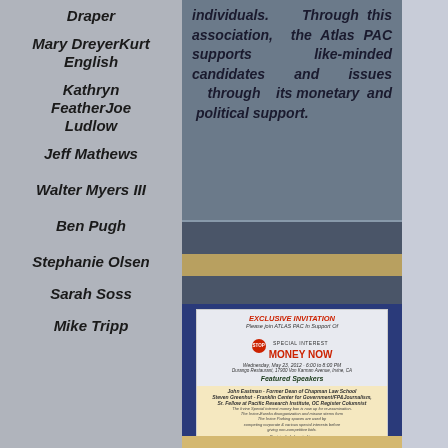Draper
Mary DreyerKurt English
Kathryn FeatherJoe Ludlow
Jeff Mathews
Walter Myers III
Ben Pugh
Stephanie Olsen
Sarah Soss
Mike Tripp
individuals. Through this association, the Atlas PAC supports like-minded candidates and issues through its monetary and political support.
[Figure (photo): Exclusive Invitation flyer for ATLAS PAC in Support Of Special Interest Money Now event, Wednesday May 23 2012, 6:00 to 8:00 PM, Durango Restaurant, 17900 Von Karman Avenue, Irvine, CA. Featured Speakers listed with event details.]